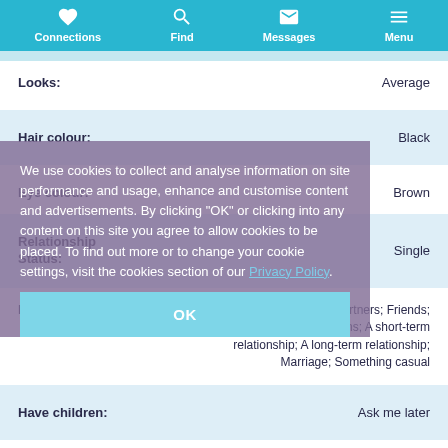Connections | Find | Messages | Menu
| Field | Value |
| --- | --- |
| Looks: | Average |
| Hair colour: | Black |
| Eye colour: | Brown |
| Relationship Status: | Single |
| Looking for: | Just online friends; Activity partners; Friends; Let's see what happens; A short-term relationship; A long-term relationship; Marriage; Something casual |
| Have children: | Ask me later |
| Want children: | Ask me later |
We use cookies to collect and analyse information on site performance and usage, enhance and customise content and advertisements. By clicking "OK" or clicking into any content on this site you agree to allow cookies to be placed. To find out more or to change your cookie settings, visit the cookies section of our Privacy Policy.